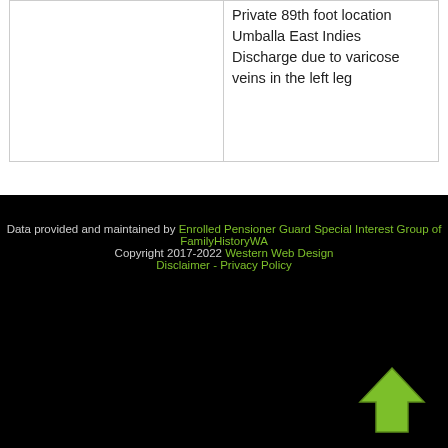|  | Private 89th foot location Umballa East Indies Discharge due to varicose veins in the left leg |
Data provided and maintained by Enrolled Pensioner Guard Special Interest Group of FamilyHistoryWA Copyright 2017-2022 Western Web Design Disclaimer - Privacy Policy